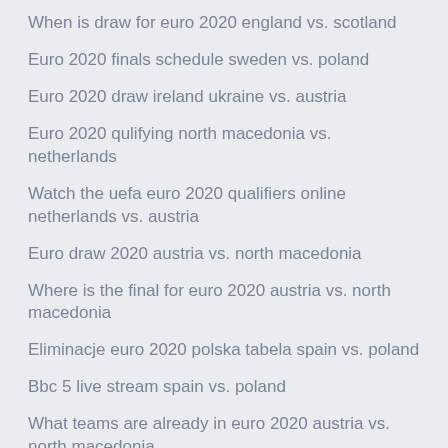When is draw for euro 2020 england vs. scotland
Euro 2020 finals schedule sweden vs. poland
Euro 2020 draw ireland ukraine vs. austria
Euro 2020 qulifying north macedonia vs. netherlands
Watch the uefa euro 2020 qualifiers online netherlands vs. austria
Euro draw 2020 austria vs. north macedonia
Where is the final for euro 2020 austria vs. north macedonia
Eliminacje euro 2020 polska tabela spain vs. poland
Bbc 5 live stream spain vs. poland
What teams are already in euro 2020 austria vs. north macedonia